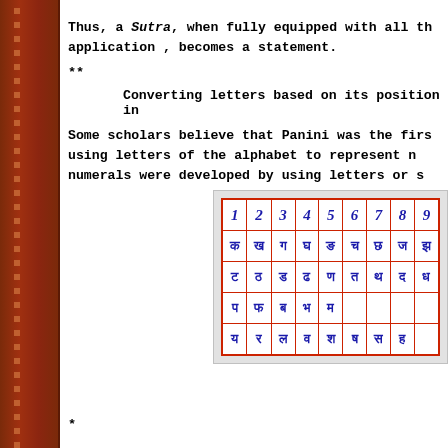Thus, a Sutra, when fully equipped with all th application , becomes a statement.
**
Converting letters based on its position in
Some scholars believe that Panini was the firs using letters of the alphabet to represent n numerals were developed by using letters or s
| 1 | 2 | 3 | 4 | 5 | 6 | 7 | 8 | (9) |
| --- | --- | --- | --- | --- | --- | --- | --- | --- |
| क | ख | ग | घ | ङ | च | छ | ज | झ |
| ट | ठ | ड | ढ | ण | त | थ | द | ध |
| प | फ | ब | भ | म |  |  |  |  |
| य | र | ल | व | श | ष | स | ह |  |
*